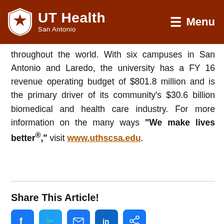UT Health San Antonio — Menu
throughout the world. With six campuses in San Antonio and Laredo, the university has a FY 16 revenue operating budget of $801.8 million and is the primary driver of its community's $30.6 billion biomedical and health care industry. For more information on the many ways "We make lives better®," visit www.uthscsa.edu.
Share This Article!